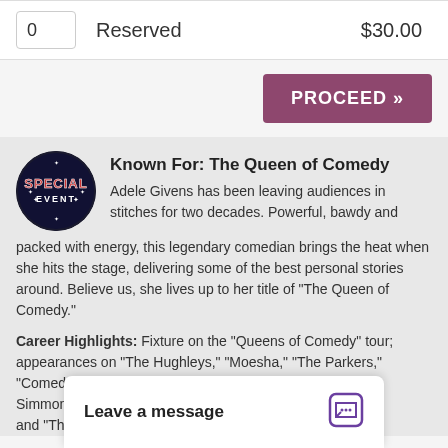| Qty | Type | Price |
| --- | --- | --- |
| 0 | Reserved | $30.00 |
PROCEED »
[Figure (logo): Special Event circular logo with dark background, text 'SPECIAL EVENT']
Known For: The Queen of Comedy
Adele Givens has been leaving audiences in stitches for two decades. Powerful, bawdy and packed with energy, this legendary comedian brings the heat when she hits the stage, delivering some of the best personal stories around. Believe us, she lives up to her title of "The Queen of Comedy."
Career Highlights: Fixture on the "Queens of Comedy" tour; appearances on "The Hughleys," "Moesha," "The Parkers," "Comedy Central Presents," "Def Comedy Jam," "Russell Simmons Presents Def P... and "The Steve Harvey S...
Leave a message